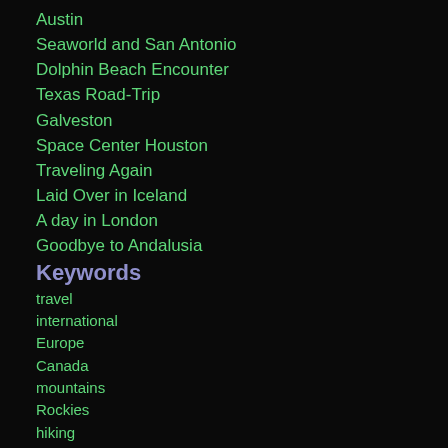Austin
Seaworld and San Antonio
Dolphin Beach Encounter
Texas Road-Trip
Galveston
Space Center Houston
Traveling Again
Laid Over in Iceland
A day in London
Goodbye to Andalusia
Keywords
travel
international
Europe
Canada
mountains
Rockies
hiking
Alberta
Spain
backpacking